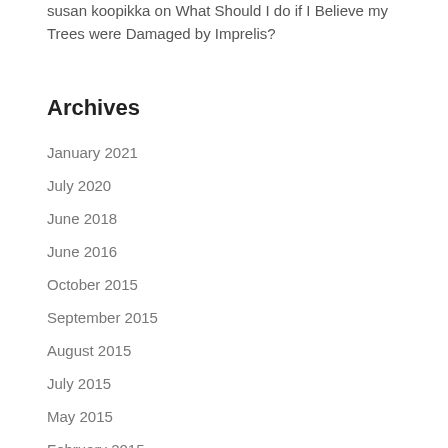susan koopikka on What Should I do if I Believe my Trees were Damaged by Imprelis?
Archives
January 2021
July 2020
June 2018
June 2016
October 2015
September 2015
August 2015
July 2015
May 2015
February 2015
November 2014